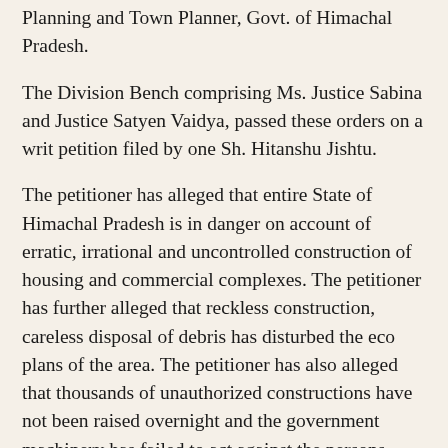Planning and Town Planner, Govt. of Himachal Pradesh.
The Division Bench comprising Ms. Justice Sabina and Justice Satyen Vaidya, passed these orders on a writ petition filed by one Sh. Hitanshu Jishtu.
The petitioner has alleged that entire State of Himachal Pradesh is in danger on account of erratic, irrational and uncontrolled construction of housing and commercial complexes. The petitioner has further alleged that reckless construction, careless disposal of debris has disturbed the eco plans of the area. The petitioner has also alleged that thousands of unauthorized constructions have not been raised overnight and the government machinery has failed to act against the persons responsible for unauthorized construction.
The petitioner has alleged that respondents has yet again notified and amended the Town and Country Planning Rules, which virtually nullifies the decisions rendered by